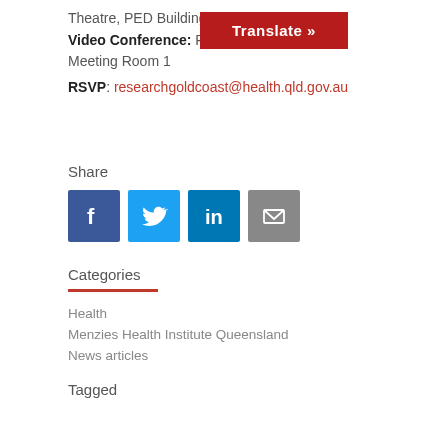Theatre, PED Building
Video Conference: Robina RH-A-1-Admin Meeting Room 1
RSVP: researchgoldcoast@health.qld.gov.au
Share
[Figure (infographic): Social share icons: Facebook (blue), Twitter (light blue), LinkedIn (dark blue), Email (grey)]
Categories
Health
Menzies Health Institute Queensland
News articles
Tagged